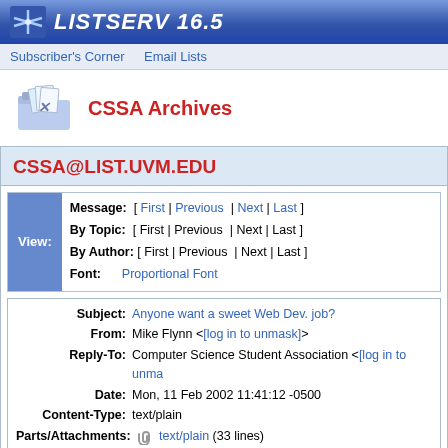LISTSERV 16.5
Subscriber's Corner  Email Lists
CSSA Archives
CSSA@LIST.UVM.EDU
View: Message: [ First | Previous | Next | Last ] By Topic: [ First | Previous | Next | Last ] By Author: [ First | Previous | Next | Last ] Font: Proportional Font
| Field | Value |
| --- | --- |
| Subject: | Anyone want a sweet Web Dev. job? |
| From: | Mike Flynn <[log in to unmask]> |
| Reply-To: | Computer Science Student Association <[log in to unma... |
| Date: | Mon, 11 Feb 2002 11:41:12 -0500 |
| Content-Type: | text/plain |
| Parts/Attachments: | text/plain (33 lines) |
Hey all,